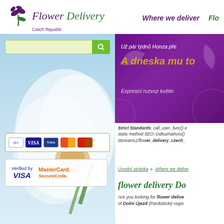[Figure (logo): Flower Delivery Czech Republic logo with stylized flower/leaf SVG graphic in purple and green]
Where we deliver  Flo...
[Figure (screenshot): Left panel: search bar with green button, flower photo background, payment icons (Google, VISA, Mastercard), Verified by VISA and MasterCard SecureCode badges]
[Figure (screenshot): Purple banner with Czech text: Už pár týdnů Honza pře... / A dneska mu to / Expresní rozvoz květin]
Strict Standards: call_user_func() e static method SEO::OdkazNahoru() /domains1/flower_delivery_czech_...
Úvodní stránka ▸ Where we delive...
flower delivery Do...
Are you looking for flower delive... of Dolní Újezd (Pardubický regio...